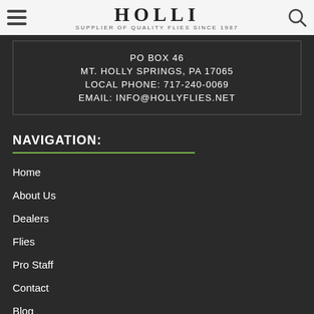HOLLI — SUPPLIER OF QUALITY FLIES SINCE 1987
PO BOX 46
MT. HOLLY SPRINGS, PA 17065
LOCAL PHONE: 717-240-0069
EMAIL: INFO@HOLLYFLIES.NET
NAVIGATION:
Home
About Us
Dealers
Flies
Pro Staff
Contact
Blog